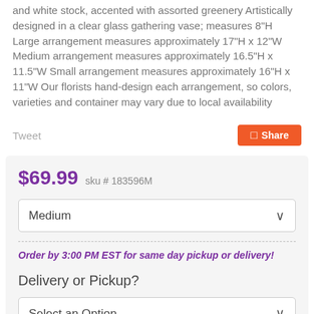and white stock, accented with assorted greenery Artistically designed in a clear glass gathering vase; measures 8"H Large arrangement measures approximately 17"H x 12"W Medium arrangement measures approximately 16.5"H x 11.5"W Small arrangement measures approximately 16"H x 11"W Our florists hand-design each arrangement, so colors, varieties and container may vary due to local availability
Tweet
Share
$69.99  sku # 183596M
Medium
Order by 3:00 PM EST for same day pickup or delivery!
Delivery or Pickup?
Select an Option